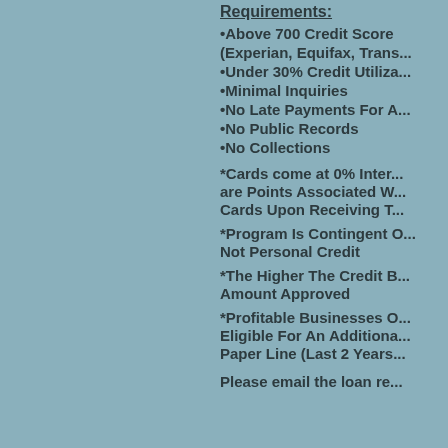Requirements:
•Above 700 Credit Score (Experian, Equifax, Trans...
•Under 30% Credit Utiliza...
•Minimal Inquiries
•No Late Payments For A...
•No Public Records
•No Collections
*Cards come at 0% Inter... are Points Associated W... Cards Upon Receiving T...
*Program Is Contingent ... Not Personal Credit
*The Higher The Credit B... Amount Approved
*Profitable Businesses O... Eligible For An Additiona... Paper Line (Last 2 Years...
Please email the loan re...